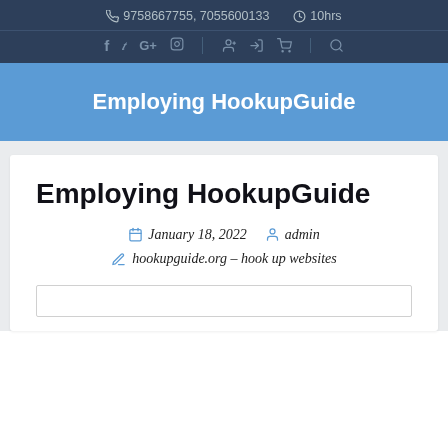📞 9758667755, 7055600133  🕐 10hrs
f  🐦  G+  📷  |  👤+  ➡  🛒  |  🔍
Employing HookupGuide
Employing HookupGuide
January 18, 2022  admin
hookupguide.org – hook up websites